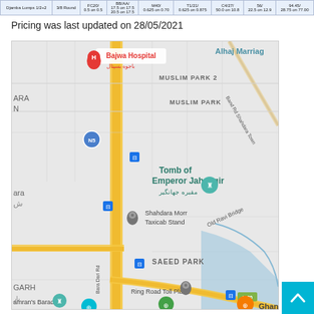| Djamba Lumps 1/2+2 | 3/8 Round | FC20/ 0.5 on 0.5 | BB/AA/ 17.5 on 17.5/20.5 on 17.5 | M40/ 0.625 on 0.70 | T1/21/ 0.625 on 0.875 | C4/27/ 50.0 on 10.8 | 56/ 22.5 on 12.9 | 94.45/ 28.75 on 77.00 |
| --- | --- | --- | --- | --- | --- | --- | --- | --- |
Pricing was last updated on 28/05/2021
[Figure (map): Google Maps screenshot showing an area of Lahore, Pakistan. Key locations visible include Bajwa Hospital (marked with red H pin), Tomb of Emperor Jahangir (marked with teal pin), Shahdara Morr Taxicab Stand (marked with grey pin), Muslim Park 2, Muslim Park, Saeed Park, Ring Road Toll Plaza, Bara Dari Rd, Band Rd Shahdara Town, Old Ravi Bridge, Imran's Baradari, N5 highway marker, L-20 road marker, and bus stop icons. A river (Ravi) is visible in the lower right. The road network includes a prominent yellow dual carriageway.]